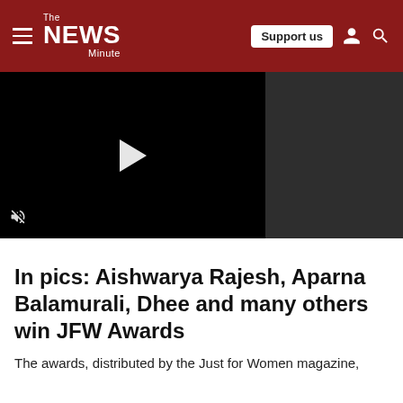The News Minute — Support us
[Figure (screenshot): Video player with black background, white play button triangle in center, mute icon at bottom left. Right side has dark grey sidebar panel.]
In pics: Aishwarya Rajesh, Aparna Balamurali, Dhee and many others win JFW Awards
The awards, distributed by the Just for Women magazine,